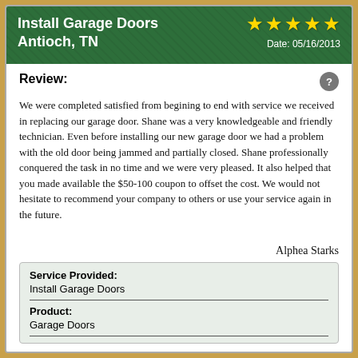Install Garage Doors
Antioch, TN
★★★★★  Date: 05/16/2013
Review:
We were completed satisfied from begining to end with service we received in replacing our garage door. Shane was a very knowledgeable and friendly technician. Even before installing our new garage door we had a problem with the old door being jammed and partially closed. Shane professionally conquered the task in no time and we were very pleased. It also helped that you made available the $50-100 coupon to offset the cost. We would not hesitate to recommend your company to others or use your service again in the future.
Alphea Starks
| Service Provided: |  |
| --- | --- |
| Install Garage Doors |  |
| Product: |  |
| Garage Doors |  |